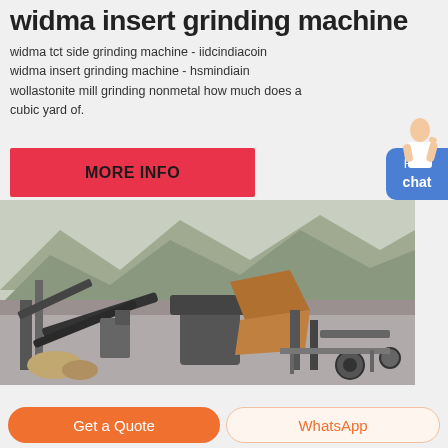widma insert grinding machine
widma tct side grinding machine - iidcindiacoin widma insert grinding machine - hsmindiain wollastonite mill grinding nonmetal how much does a cubic yard of.
[Figure (other): Red button/banner labeled MORE INFO]
[Figure (photo): Industrial stone crushing / grinding machine at a quarry site with mountains in background]
Get a Quote
WhatsApp